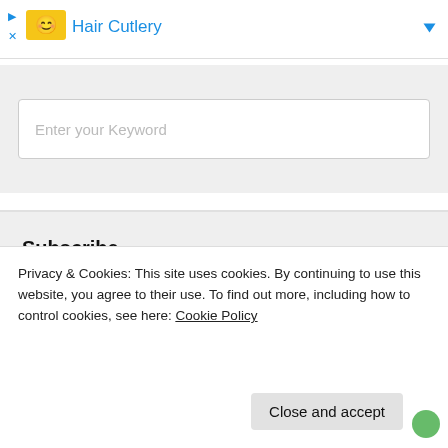Hair Cutlery
[Figure (screenshot): Search box with placeholder text 'Enter your Keyword' on a light gray background]
Subscribe
[Figure (screenshot): Subscribe to my mailing list form with email input field]
Privacy & Cookies: This site uses cookies. By continuing to use this website, you agree to their use. To find out more, including how to control cookies, see here: Cookie Policy
Close and accept